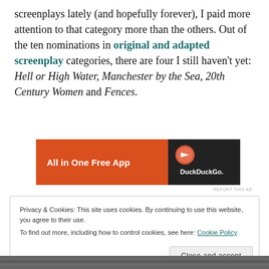screenplays lately (and hopefully forever), I paid more attention to that category more than the others. Out of the ten nominations in original and adapted screenplay categories, there are four I still haven't yet: Hell or High Water, Manchester by the Sea, 20th Century Women and Fences.
[Figure (other): DuckDuckGo advertisement banner - 'All in One Free App' on orange background with DuckDuckGo logo on dark background]
REPORT THIS AD
Privacy & Cookies: This site uses cookies. By continuing to use this website, you agree to their use.
To find out more, including how to control cookies, see here: Cookie Policy
Close and accept